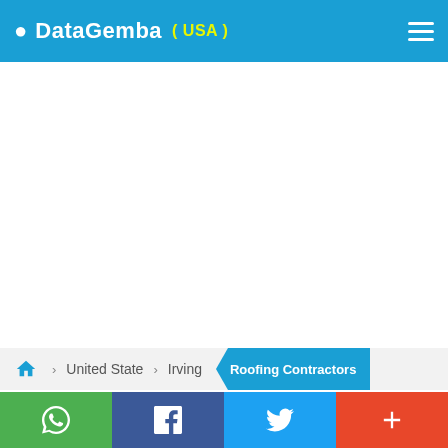DataGemba (USA)
United State  Irving  Roofing Contractors